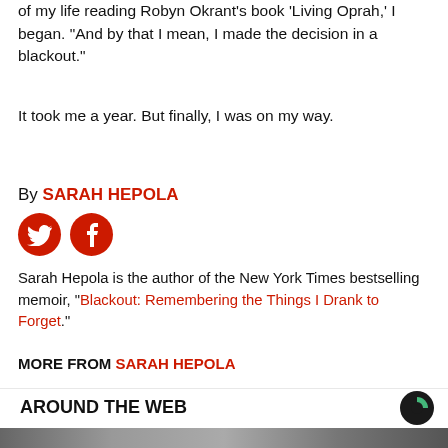of my life reading Robyn Okrant's book 'Living Oprah,' I began. "And by that I mean, I made the decision in a blackout."
It took me a year. But finally, I was on my way.
By SARAH HEPOLA
[Figure (illustration): Red Twitter bird icon and red Facebook f icon, both on red circles]
Sarah Hepola is the author of the New York Times bestselling memoir, "Blackout: Remembering the Things I Drank to Forget."
MORE FROM SARAH HEPOLA
AROUND THE WEB
[Figure (logo): Taboola logo - black circle with green segment]
[Figure (photo): Partial image strip at bottom of page]